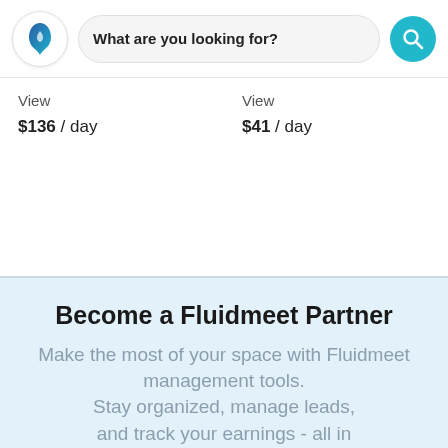What are you looking for?
View
$136 / day
View
$41 / day
Become a Fluidmeet Partner
Make the most of your space with Fluidmeet management tools. Stay organized, manage leads, and track your earnings - all in